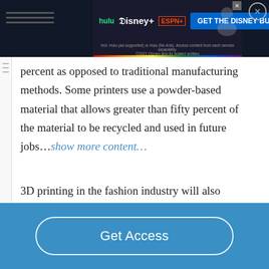[Figure (screenshot): Disney Bundle advertisement banner with Hulu, Disney+, ESPN+ logos and 'GET THE DISNEY BUNDLE' call to action button. Small print reads: Incl. Hulu (ad-supported) or Hulu (No Ads). Access content from each service separately. ©2021 Disney and its related entities]
percent as opposed to traditional manufacturing methods. Some printers use a powder-based material that allows greater than fifty percent of the material to be recycled and used in future jobs…show more content…
3D printing in the fashion industry will also affect the way companies approach
[Figure (screenshot): Blue 'Get Access' button bar at the bottom of the page]